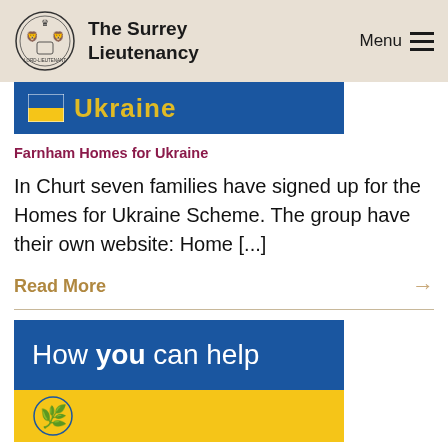The Surrey Lieutenancy | Menu
[Figure (screenshot): Partial blue banner with Ukraine flag icon and partially visible yellow text 'Ukraine']
Farnham Homes for Ukraine
In Churt seven families have signed up for the Homes for Ukraine Scheme. The group have their own website: Home [...]
Read More →
[Figure (infographic): Blue and yellow banner reading 'How you can help' with a blue Ukrainian trident/oak leaf symbol on the yellow section below]